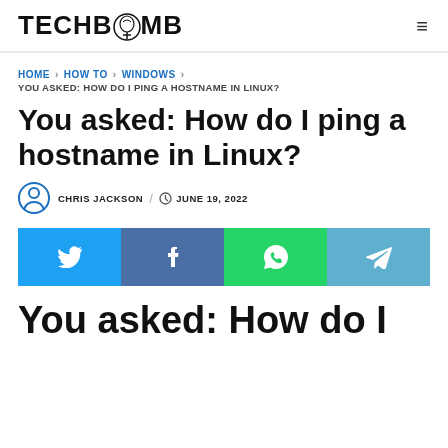TECHBOMB
HOME › HOW TO › WINDOWS › YOU ASKED: HOW DO I PING A HOSTNAME IN LINUX?
You asked: How do I ping a hostname in Linux?
CHRIS JACKSON / JUNE 19, 2022
[Figure (infographic): Social share buttons: Twitter, Facebook, WhatsApp, Telegram]
You asked: How do I